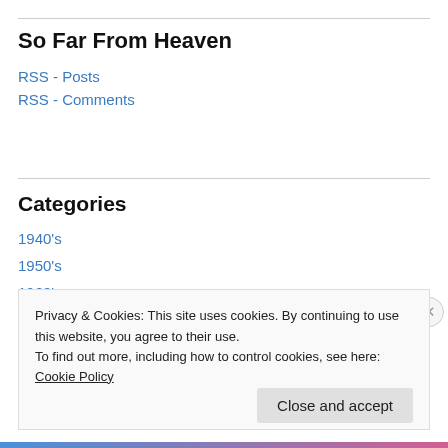So Far From Heaven
RSS - Posts
RSS - Comments
Categories
1940's
1950's
1960's
1970's
1980's
Privacy & Cookies: This site uses cookies. By continuing to use this website, you agree to their use.
To find out more, including how to control cookies, see here: Cookie Policy
Close and accept